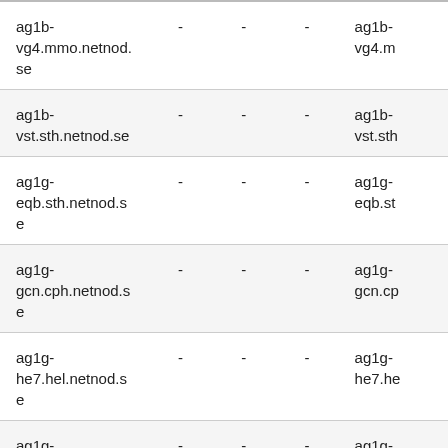| ag1b-vg4.mmo.netnod.se | - | - | - | ag1b-vg4.m |
| ag1b-vst.sth.netnod.se | - | - | - | ag1b-vst.sth |
| ag1g-eqb.sth.netnod.se | - | - | - | ag1g-eqb.st |
| ag1g-gcn.cph.netnod.se | - | - | - | ag1g-gcn.cp |
| ag1g-he7.hel.netnod.se | - | - | - | ag1g-he7.he |
| ag1g-ixa.sth.netnod.se | - | - | - | ag1g-ixa.sth |
| ag1g-ixn.cph.netnod.se | - | - | - | ag1g-ixn.cph |